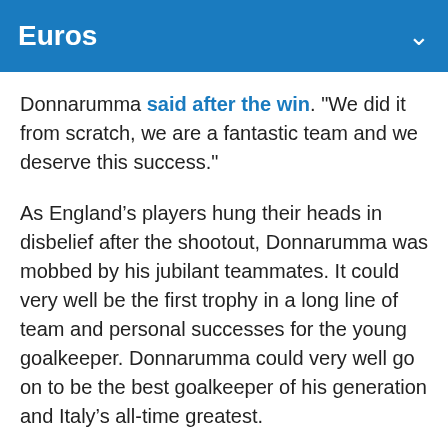Euros
Donnarumma said after the win. "We did it from scratch, we are a fantastic team and we deserve this success."
As England’s players hung their heads in disbelief after the shootout, Donnarumma was mobbed by his jubilant teammates. It could very well be the first trophy in a long line of team and personal successes for the young goalkeeper. Donnarumma could very well go on to be the best goalkeeper of his generation and Italy’s all-time greatest.